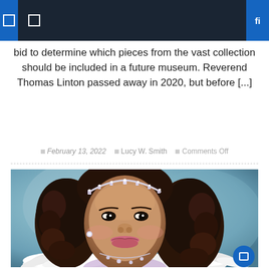Navigation header with menu icons and search
bid to determine which pieces from the vast collection should be included in a future museum. Reverend Thomas Linton passed away in 2020, but before [...]
February 13, 2022  Lucy W. Smith  Comments Off
[Figure (photo): Portrait photo of a young girl with curly hair wearing a rhinestone tiara and white feather boa, smiling at camera]